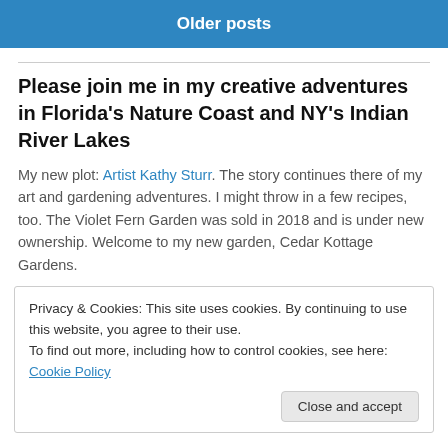Older posts
Please join me in my creative adventures in Florida's Nature Coast and NY's Indian River Lakes
My new plot: Artist Kathy Sturr. The story continues there of my art and gardening adventures. I might throw in a few recipes, too. The Violet Fern Garden was sold in 2018 and is under new ownership. Welcome to my new garden, Cedar Kottage Gardens.
Privacy & Cookies: This site uses cookies. By continuing to use this website, you agree to their use.
To find out more, including how to control cookies, see here: Cookie Policy
Close and accept